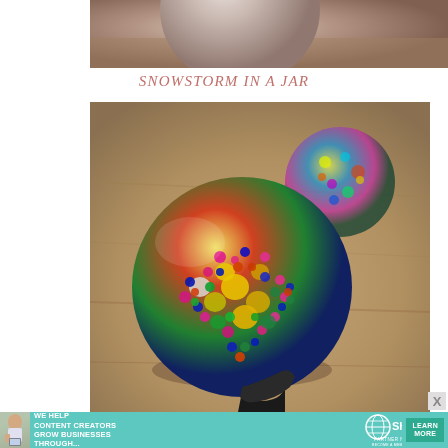[Figure (photo): Partial view of a round craft ornament or object on a wooden/warm background, top portion cut off]
SNOWSTORM IN A JAR
[Figure (photo): A colorful sequin and bead-covered ornament ball resting on a wooden surface, with a black ribbon loop. A second similar ball is visible blurred in the background.]
[Figure (photo): Advertisement banner: teal background with woman on left, text 'WE HELP CONTENT CREATORS GROW BUSINESSES THROUGH...' SHE Partner Network logo and 'LEARN MORE' button]